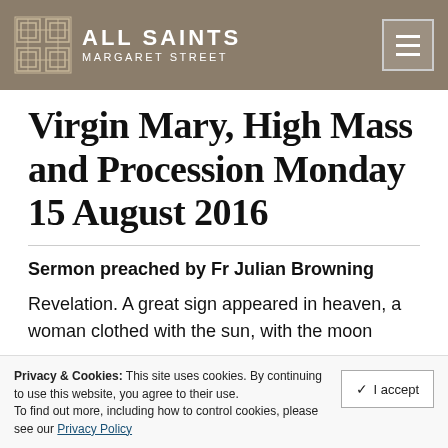ALL SAINTS MARGARET STREET
Virgin Mary, High Mass and Procession Monday 15 August 2016
Sermon preached by Fr Julian Browning
Revelation. A great sign appeared in heaven, a woman clothed with the sun, with the moon
Privacy & Cookies: This site uses cookies. By continuing to use this website, you agree to their use. To find out more, including how to control cookies, please see our Privacy Policy